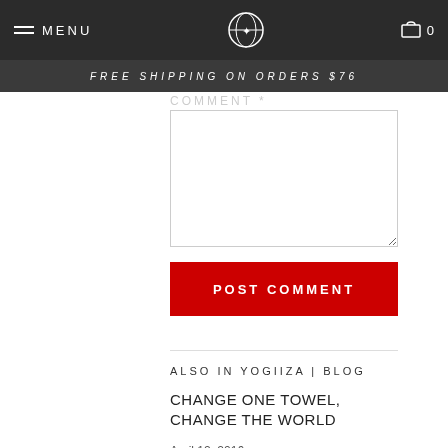MENU | [logo] | 0
FREE SHIPPING ON ORDERS $76
COMMENT *
[Figure (screenshot): Text area input box for comment]
POST COMMENT
ALSO IN YOGIIZA | BLOG
CHANGE ONE TOWEL, CHANGE THE WORLD
April 12, 2016
Read More >